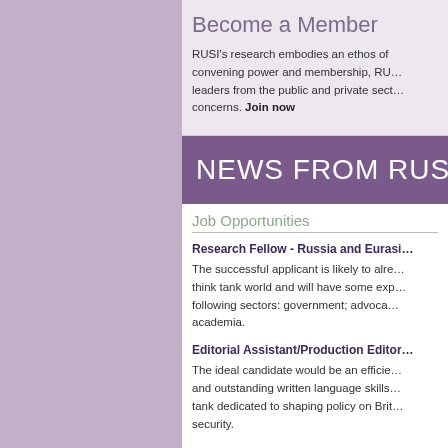Become a Member
RUSI's research embodies an ethos of convening power and membership, RU... leaders from the public and private sect... concerns. Join now
NEWS FROM RUSI
Job Opportunities
Research Fellow - Russia and Eurasi...
The successful applicant is likely to alre... think tank world and will have some exp... following sectors: government; advoca... academia.
Editorial Assistant/Production Editor...
The ideal candidate would be an efficie... and outstanding written language skills... tank dedicated to shaping policy on Brit... security.